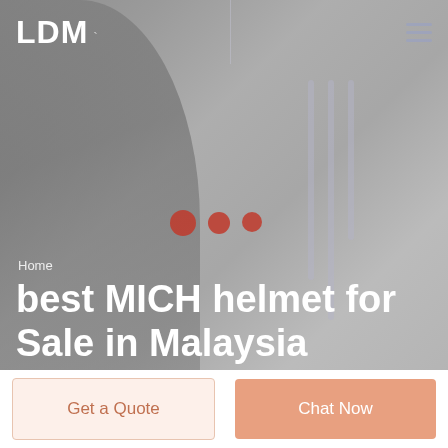[Figure (photo): Screenshot of a website header showing a person wearing a helmet against a grey background, with navigation bar, decorative dots, breadcrumb and main title overlay]
LDM
Home
best MICH helmet for Sale in Malaysia
Get a Quote
Chat Now